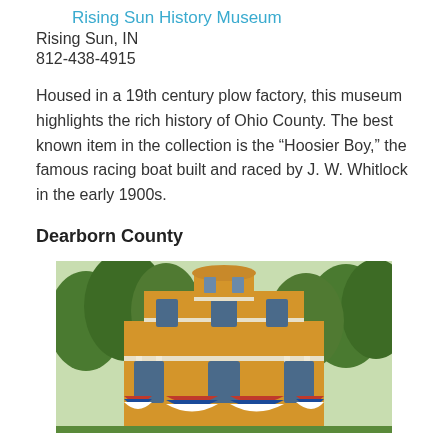Rising Sun History Museum
Rising Sun, IN
812-438-4915
Housed in a 19th century plow factory, this museum highlights the rich history of Ohio County. The best known item in the collection is the “Hoosier Boy,” the famous racing boat built and raced by J. W. Whitlock in the early 1900s.
Dearborn County
[Figure (photo): Exterior of a large yellow Victorian-style historic house with white trim, multiple stories, arched windows, a circular cupola on top, surrounded by green trees, with red-white-and-blue patriotic bunting decorations along the front porch.]